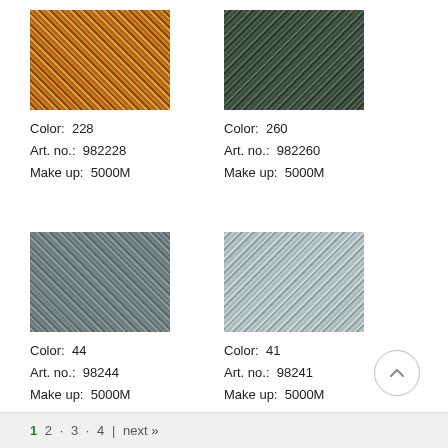[Figure (photo): Textile/thread swatch in gold-bronze metallic color, Color 228]
Color:  228
Art. no.:  982228
Make up:  5000M
[Figure (photo): Textile/thread swatch in dark green metallic color, Color 260]
Color:  260
Art. no.:  982260
Make up:  5000M
[Figure (photo): Textile/thread swatch in dark silver-grey metallic color, Color 44]
Color:  44
Art. no.:  98244
Make up:  5000M
[Figure (photo): Textile/thread swatch in light silver metallic color, Color 41]
Color:  41
Art. no.:  98241
Make up:  5000M
1  2  3  4 |  next »